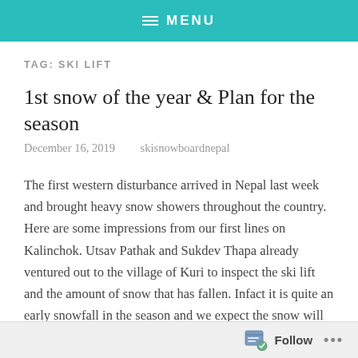≡ MENU
TAG: SKI LIFT
1st snow of the year & Plan for the season
December 16, 2019    skisnowboardnepal
The first western disturbance arrived in Nepal last week and brought heavy snow showers throughout the country. Here are some impressions from our first lines on Kalinchok. Utsav Pathak and Sukdev Thapa already ventured out to the village of Kuri to inspect the ski lift and the amount of snow that has fallen. Infact it is quite an early snowfall in the season and we expect the snow will disappear within the next week. Nevertheless, it is a perfect start in the new season an we are
Follow ...